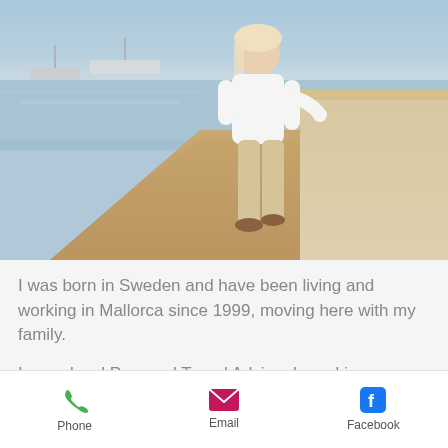[Figure (photo): A blonde woman in a white shirt and beige pants leans against a stone wall on a seaside promenade in Mallorca, with boats and water visible in the background.]
I was born in Sweden and have been living and working in Mallorca since 1999, moving here with my family.
I am a local Personal Travel Advisor based in Mallorca, Spain. I have a
Phone   Email   Facebook